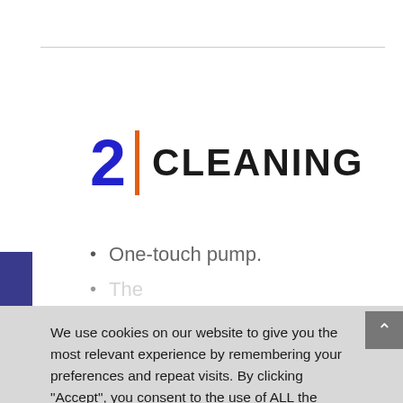2 | CLEANING
One-touch pump.
We use cookies on our website to give you the most relevant experience by remembering your preferences and repeat visits. By clicking “Accept”, you consent to the use of ALL the cookies.
Do not sell my personal information.
Cookie settings   ACCEPT